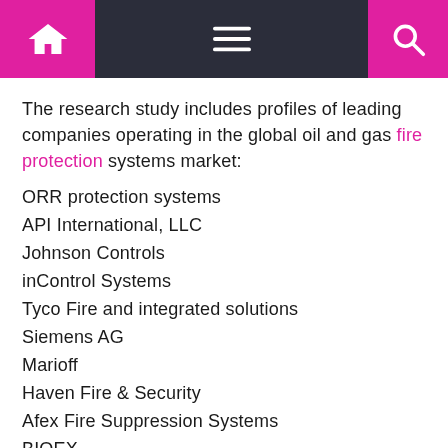Navigation bar with home, menu, and search icons
The research study includes profiles of leading companies operating in the global oil and gas fire protection systems market:
ORR protection systems
API International, LLC
Johnson Controls
inControl Systems
Tyco Fire and integrated solutions
Siemens AG
Marioff
Haven Fire & Security
Afex Fire Suppression Systems
BIOEX
Worm Australia
Hegel Engineering Sdn Bhd
Pot Tropico